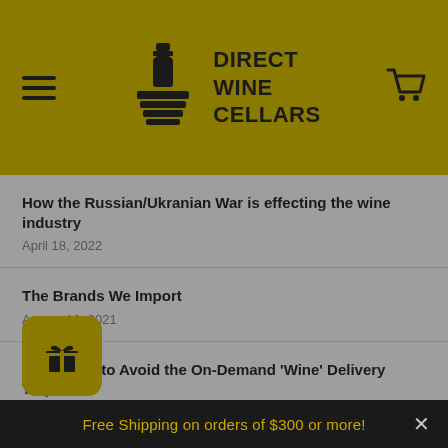[Figure (logo): Direct Wine Cellars logo with wine bottle and stacked boxes icon, gold header background, hamburger menu icon left, shopping cart icon right]
How the Russian/Ukranian War is effecting the wine industry
April 18, 2022
The Brands We Import
August 10, 2021
5 Reasons to Avoid the On-Demand 'Wine' Delivery Trap!
March 07, 2021
Free Shipping on orders of $300 or more!